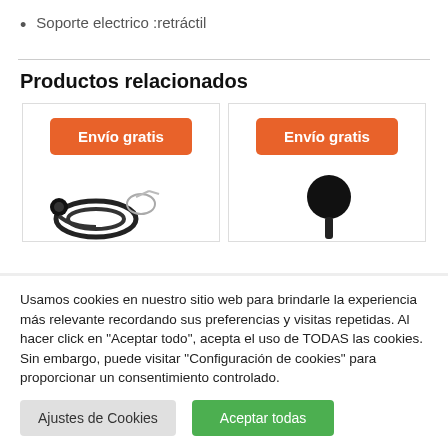Soporte electrico :retráctil
Productos relacionados
[Figure (photo): Product card with orange 'Envío gratis' badge and earphones image below]
[Figure (photo): Product card with orange 'Envío gratis' badge and black ball/mount image below]
Usamos cookies en nuestro sitio web para brindarle la experiencia más relevante recordando sus preferencias y visitas repetidas. Al hacer click en "Aceptar todo", acepta el uso de TODAS las cookies. Sin embargo, puede visitar "Configuración de cookies" para proporcionar un consentimiento controlado.